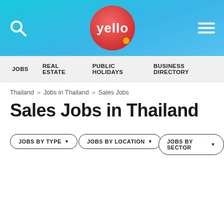yello
JOBS   REAL ESTATE   PUBLIC HOLIDAYS   BUSINESS DIRECTORY
Thailand » Jobs in Thailand » Sales Jobs
Sales Jobs in Thailand
JOBS BY TYPE
JOBS BY LOCATION
JOBS BY SECTOR